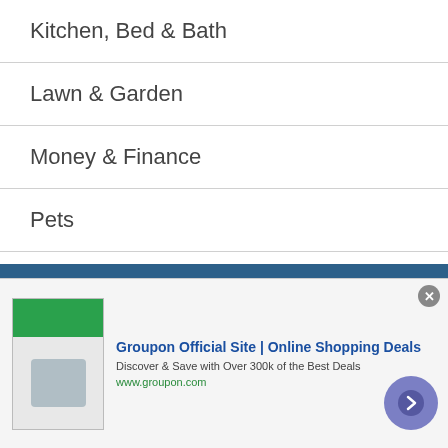Kitchen, Bed & Bath
Lawn & Garden
Money & Finance
Pets
Prnewswire
Real Estate
Seasonal
Senior Living
Tech Talk & Innovation
[Figure (screenshot): Groupon advertisement banner: 'Groupon Official Site | Online Shopping Deals - Discover & Save with Over 300k of the Best Deals - www.groupon.com' with a thumbnail image and a call-to-action arrow button]